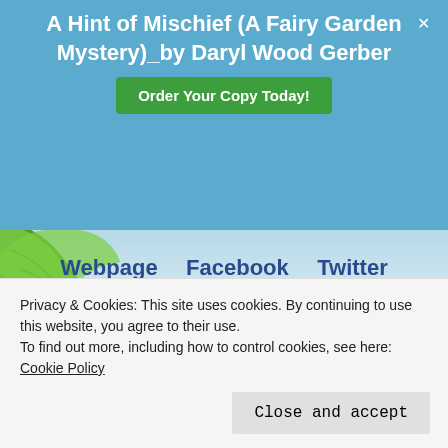A Hint of Mischief (A Fairy Garden Mystery)_by Daryl Wood Gerber
Order Your Copy Today!
Webpage   Facebook   Twitter   Goodreads   Instagram
[Figure (illustration): Book cover showing 'THE MOUNTAIN VIEW' title with sky background]
Privacy & Cookies: This site uses cookies. By continuing to use this website, you agree to their use.
To find out more, including how to control cookies, see here:
Cookie Policy
Close and accept